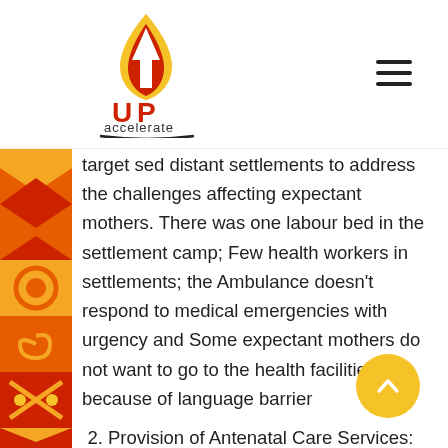[Figure (logo): UP Accelerate logo — flame icon with UP text in red/yellow/orange and 'accelerate' text below with a swoosh underline]
target sed distant settlements to address the challenges affecting expectant mothers. There was one labour bed in the settlement camp; Few health workers in settlements; the Ambulance doesn't respond to medical emergencies with urgency and Some expectant mothers do not want to go to the health facilities because of language barrier
2. Provision of Antenatal Care Services: Through this experiment, the team wanted to learn whether the antenatal initiative limited the proposed services like; malaria, syphilis and HIV screening, abdominal and general